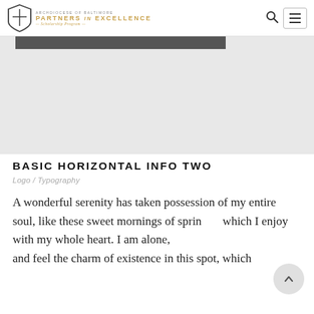ARCHDIOCESE OF BALTIMORE PARTNERS IN EXCELLENCE Scholarship Program
[Figure (screenshot): Partial website screenshot showing a gray placeholder image area with a dark gray bar at the top]
BASIC HORIZONTAL INFO TWO
Logo / Typography
A wonderful serenity has taken possession of my entire soul, like these sweet mornings of spring which I enjoy with my whole heart. I am alone, and feel the charm of existence in this spot, which